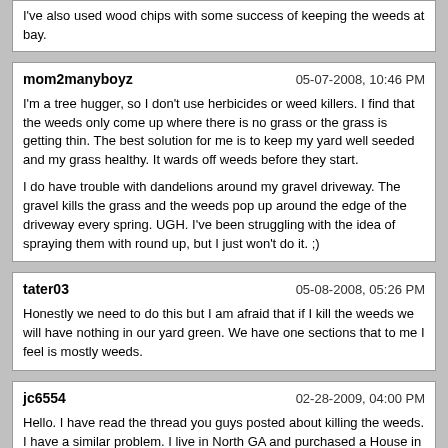I've also used wood chips with some success of keeping the weeds at bay.
mom2manyboyz | 05-07-2008, 10:46 PM
I'm a tree hugger, so I don't use herbicides or weed killers. I find that the weeds only come up where there is no grass or the grass is getting thin. The best solution for me is to keep my yard well seeded and my grass healthy. It wards off weeds before they start.

I do have trouble with dandelions around my gravel driveway. The gravel kills the grass and the weeds pop up around the edge of the driveway every spring. UGH. I've been struggling with the idea of spraying them with round up, but I just won't do it. ;)
tater03 | 05-08-2008, 05:26 PM
Honestly we need to do this but I am afraid that if I kill the weeds we will have nothing in our yard green. We have one sections that to me I feel is mostly weeds.
jc6554 | 02-28-2009, 04:00 PM
Hello. I have read the thread you guys posted about killing the weeds.
I have a similar problem. I live in North GA and purchased a House in October last year. Since the house was unoccupied for all last year the lawn suffered not only of weed infestation but also of the bad drought situation we were having all summer. It did quite some damage to the lawn. I was able to mowed it a couple of times and applied weed and feed. Since we were on thight water restrictions i couldn't water it enough. Right now (Feburary 28) we are having alot of weed growing. The lawn ist not growing, yet.
I know i need to do something because I don't want to replant the whole lawn. I was thinking of getting the Ortho Weed B Gone Max and apply it?

Do I need to cut the lawn shorter than the 2 inches i have had it? With that length i noticed that it just was green after the length or at least 1.5 inches. So